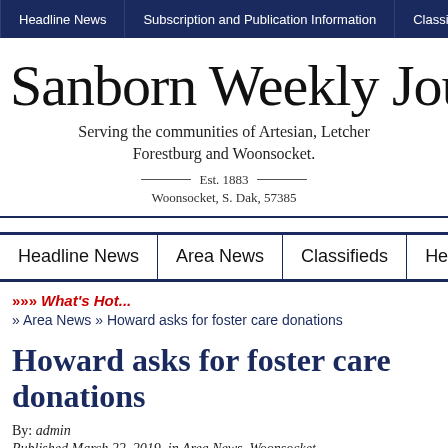Headline News | Subscription and Publication Information | Classifieds A
Sanborn Weekly Journal
Serving the communities of Artesian, Letcher Forestburg and Woonsocket.
Est. 1883
Woonsocket, S. Dak, 57385
Headline News | Area News | Classifieds | Headline N
>>> What's Hot...
» Area News » Howard asks for foster care donations
Howard asks for foster care donations
By: admin
Published March 22, 2019, in Area News, Woonsocket